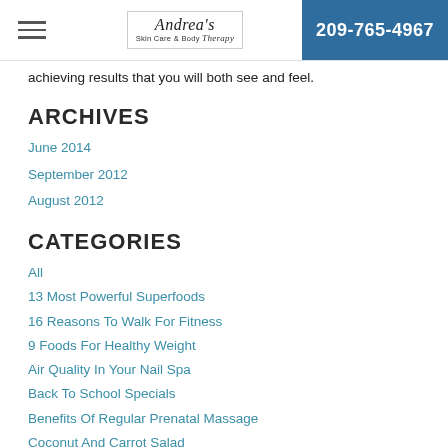Andrea's Skin Care & Body Therapy | 209-765-4967
achieving results that you will both see and feel.
ARCHIVES
June 2014
September 2012
August 2012
CATEGORIES
All
13 Most Powerful Superfoods
16 Reasons To Walk For Fitness
9 Foods For Healthy Weight
Air Quality In Your Nail Spa
Back To School Specials
Benefits Of Regular Prenatal Massage
Coconut And Carrot Salad